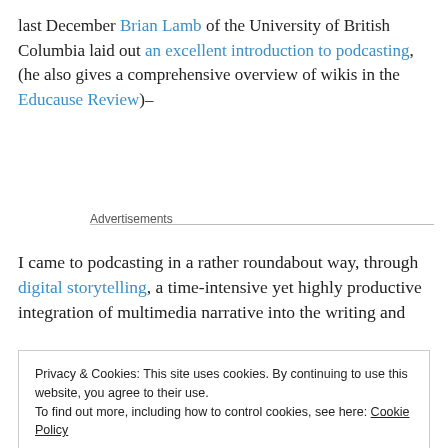last December Brian Lamb of the University of British Columbia laid out an excellent introduction to podcasting, (he also gives a comprehensive overview of wikis in the Educause Review)–
Advertisements
I came to podcasting in a rather roundabout way, through digital storytelling, a time-intensive yet highly productive integration of multimedia narrative into the writing and
Privacy & Cookies: This site uses cookies. By continuing to use this website, you agree to their use.
To find out more, including how to control cookies, see here: Cookie Policy
Close and accept